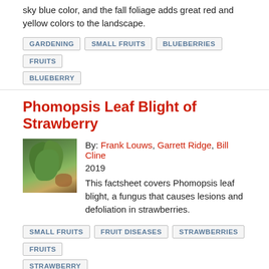sky blue color, and the fall foliage adds great red and yellow colors to the landscape.
GARDENING
SMALL FRUITS
BLUEBERRIES
FRUITS
BLUEBERRY
Phomopsis Leaf Blight of Strawberry
By: Frank Louws, Garrett Ridge, Bill Cline
2019
This factsheet covers Phomopsis leaf blight, a fungus that causes lesions and defoliation in strawberries.
[Figure (photo): Thumbnail photo of strawberry plant leaves showing disease symptoms with green and brown patches]
SMALL FRUITS
FRUIT DISEASES
STRAWBERRIES
FRUITS
STRAWBERRY
Postharvest Cooling and Handling of Blueberries